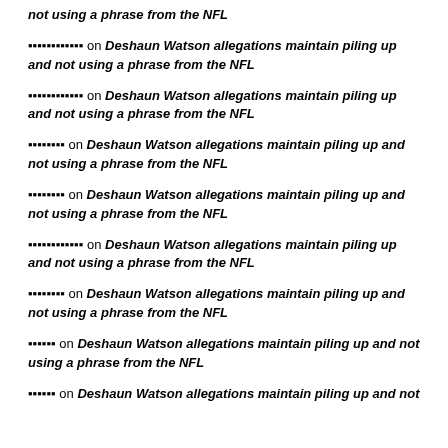not using a phrase from the NFL
▪▪▪▪▪▪▪▪▪▪▪▪ on Deshaun Watson allegations maintain piling up and not using a phrase from the NFL
▪▪▪▪▪▪▪▪▪▪▪▪ on Deshaun Watson allegations maintain piling up and not using a phrase from the NFL
▪▪▪▪▪▪▪▪ on Deshaun Watson allegations maintain piling up and not using a phrase from the NFL
▪▪▪▪▪▪▪▪ on Deshaun Watson allegations maintain piling up and not using a phrase from the NFL
▪▪▪▪▪▪▪▪▪▪▪▪ on Deshaun Watson allegations maintain piling up and not using a phrase from the NFL
▪▪▪▪▪▪▪▪ on Deshaun Watson allegations maintain piling up and not using a phrase from the NFL
▪▪▪▪▪▪ on Deshaun Watson allegations maintain piling up and not using a phrase from the NFL
▪▪▪▪▪▪ on Deshaun Watson allegations maintain piling up and not